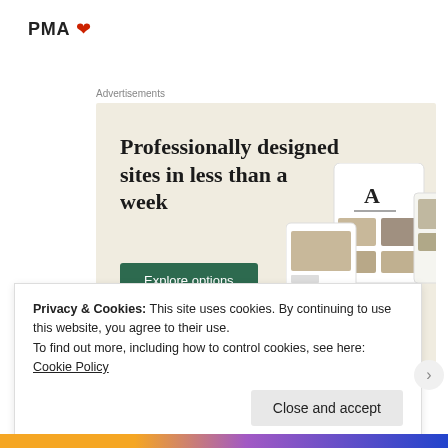PMA ♥
Advertisements
[Figure (screenshot): Advertisement banner with beige background showing headline 'Professionally designed sites in less than a week', a green 'Explore options' button, and mockup screenshots of a website/app on the right side.]
Privacy & Cookies: This site uses cookies. By continuing to use this website, you agree to their use.
To find out more, including how to control cookies, see here: Cookie Policy
Close and accept